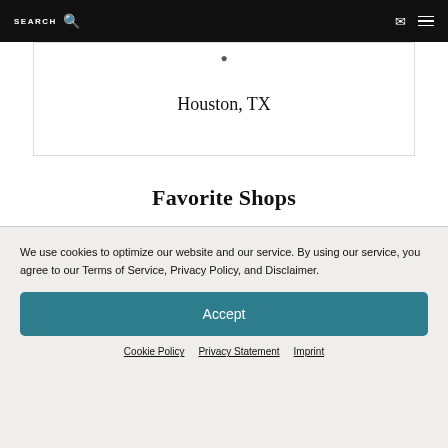SEARCH
Houston, TX
Favorite Shops
[Figure (logo): Sephora logo in large uppercase letters]
We use cookies to optimize our website and our service. By using our service, you agree to our Terms of Service, Privacy Policy, and Disclaimer.
Accept
Cookie Policy  Privacy Statement  Imprint